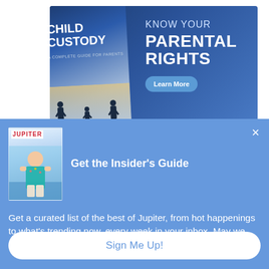[Figure (infographic): Advertisement banner for a 'Child Custody: A Complete Guide for Parents' book showing book cover on left and 'KNOW YOUR PARENTAL RIGHTS' text on right against a blue gradient background]
[Figure (screenshot): Popup modal with light blue background containing Jupiter magazine cover image, 'Get the Insider's Guide' heading, descriptive body text about curated local list, and a 'Sign Me Up!' button]
Get the Insider's Guide
Get a curated list of the best of Jupiter, from hot happenings to what's trending now, every week in your inbox. May we add you to our list?